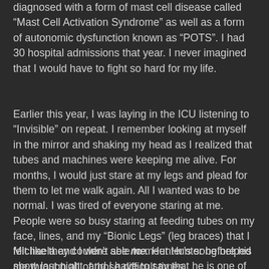diagnosed with a form of mast cell disease called “Mast Cell Activation Syndrome” as well as a form of autonomic dysfunction known as “POTS”. I had 30 hospital admissions that year. I never imagined that I would have to fight so hard for my life.
Earlier this year, I was laying in the ICU listening to “Invisible” on repeat. I remember looking at myself in the mirror and shaking my head as I realized that tubes and machines were keeping me alive. For months, I would just stare at my legs and plead for them to let me walk again. All I wanted was to be normal. I was tired of everyone staring at me. People were so busy staring at feeding tubes on my face, lines, and my “Bionic Legs” (leg braces) that I felt like they couldn’t see me. Hunter’s song helped me through all of those difficult times.
Michaela and I were able to meet Hunter before his show last night, and I have to say that he is one of the